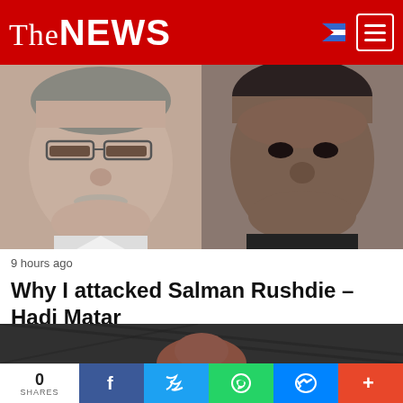The NEWS
[Figure (photo): Two headshots side by side: an older man with glasses on the left, a younger man with dark complexion on the right]
9 hours ago
Why I attacked Salman Rushdie – Hadi Matar
[Figure (photo): Close-up of a young man's face looking upward against a dark architectural background]
0 SHARES